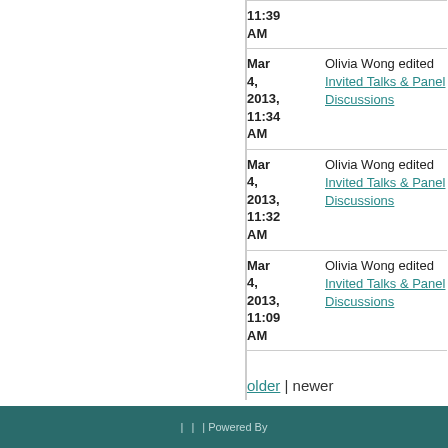| Date | Action |
| --- | --- |
| 11:39 AM |  |
| Mar 4, 2013, 11:34 AM | Olivia Wong edited Invited Talks & Panel Discussions |
| Mar 4, 2013, 11:32 AM | Olivia Wong edited Invited Talks & Panel Discussions |
| Mar 4, 2013, 11:09 AM | Olivia Wong edited Invited Talks & Panel Discussions |
older | newer
| | | Powered By